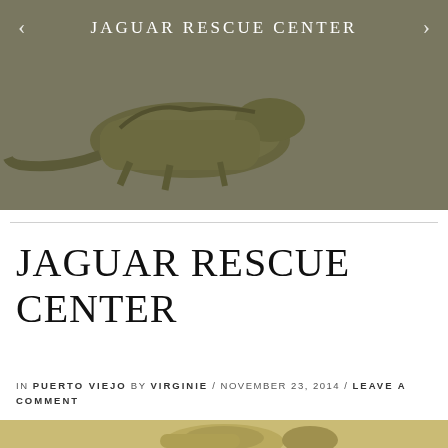[Figure (photo): Hero image of an iguana on sandy ground with overlaid text 'JAGUAR RESCUE CENTER' and navigation arrows]
JAGUAR RESCUE CENTER
IN PUERTO VIEJO BY VIRGINIE / NOVEMBER 23, 2014 / LEAVE A COMMENT
[Figure (photo): Close-up photo of an iguana on sandy ground, partially visible at bottom of page]